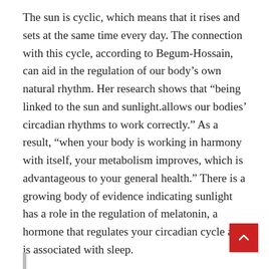The sun is cyclic, which means that it rises and sets at the same time every day. The connection with this cycle, according to Begum-Hossain, can aid in the regulation of our body’s own natural rhythm. Her research shows that “being linked to the sun and sunlight.allows our bodies’ circadian rhythms to work correctly.” As a result, “when your body is working in harmony with itself, your metabolism improves, which is advantageous to your general health.” There is a growing body of evidence indicating sunlight has a role in the regulation of melatonin, a hormone that regulates your circadian cycle and is associated with sleep.